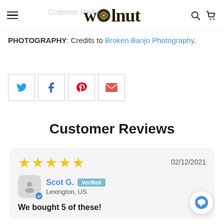Walnut — Customer Reviews page header with navigation logo, search and cart icons
PHOTOGRAPHY: Credits to Broken Banjo Photography.
[Figure (other): Social share buttons row: Twitter (blue bird), Facebook (f), Pinterest (P), Email (envelope)]
Customer Reviews
★★★★★  02/12/2021
Scot G.  Verified
Lexington, US
We bought 5 of these!